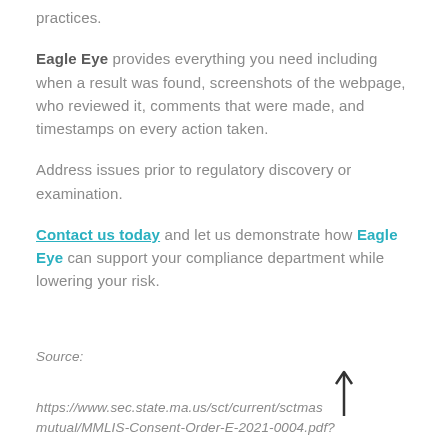practices.
Eagle Eye provides everything you need including when a result was found, screenshots of the webpage, who reviewed it, comments that were made, and timestamps on every action taken.
Address issues prior to regulatory discovery or examination.
Contact us today and let us demonstrate how Eagle Eye can support your compliance department while lowering your risk.
Source:
https://www.sec.state.ma.us/sct/current/sctmass
mutual/MMLIS-Consent-Order-E-2021-0004.pdf?